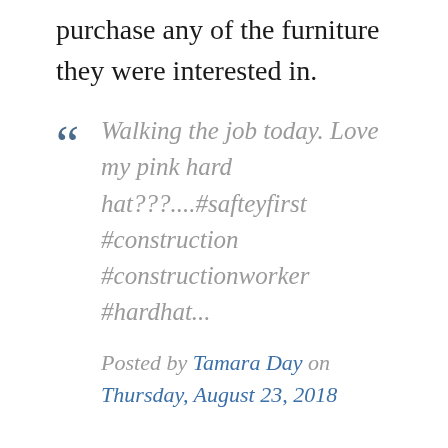purchase any of the furniture they were interested in.
Walking the job today. Love my pink hard hat???....#safteyfirst #construction #constructionworker #hardhat...
Posted by Tamara Day on Thursday, August 23, 2018
Her business was growing but she experienced fatigue, especially after the birth of her fourth child. She took time off and decided to focus more on her children. After a few months, some of her previous clients